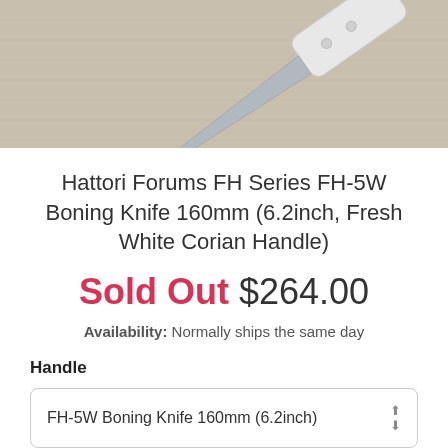[Figure (photo): Photo of a knife with a white Corian handle on a linen/fabric background, viewed from above]
Hattori Forums FH Series FH-5W Boning Knife 160mm (6.2inch, Fresh White Corian Handle)
Sold Out $264.00
Availability: Normally ships the same day
Handle
FH-5W Boning Knife 160mm (6.2inch)